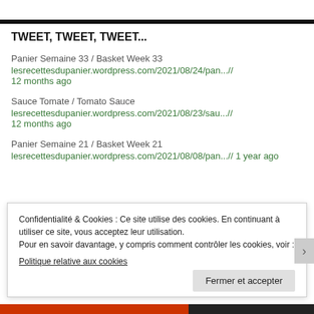TWEET, TWEET, TWEET...
Panier Semaine 33 / Basket Week 33
lesrecettesdupanier.wordpress.com/2021/08/24/pan...//
12 months ago
Sauce Tomate / Tomato Sauce
lesrecettesdupanier.wordpress.com/2021/08/23/sau...//
12 months ago
Panier Semaine 21 / Basket Week 21
lesrecettesdupanier.wordpress.com/2021/08/08/pan...// 1 year ago
Confidentialité & Cookies : Ce site utilise des cookies. En continuant à utiliser ce site, vous acceptez leur utilisation.
Pour en savoir davantage, y compris comment contrôler les cookies, voir :
Politique relative aux cookies
Fermer et accepter